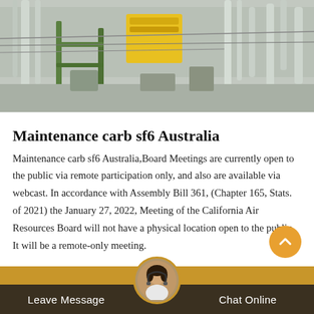[Figure (photo): Industrial electrical substation or equipment yard with pipes, cables, green metal structures, a yellow container/unit, and various machinery visible outdoors in daylight.]
Maintenance carb sf6 Australia
Maintenance carb sf6 Australia,Board Meetings are currently open to the public via remote participation only, and also are available via webcast. In accordance with Assembly Bill 361, (Chapter 165, Stats. of 2021) the January 27, 2022, Meeting of the California Air Resources Board will not have a physical location open to the public. It will be a remote-only meeting.
Leave Message   Chat Online